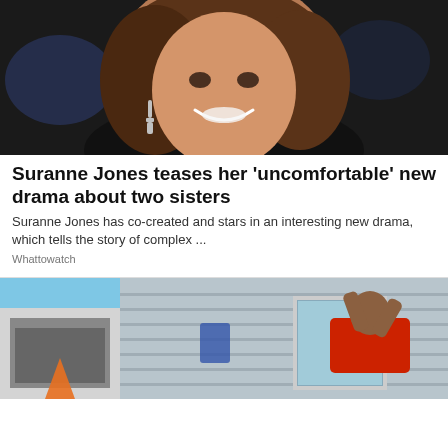[Figure (photo): Woman with brown wavy hair smiling, wearing dark top and dangling earrings, photographed against a blurred dark background]
Suranne Jones teases her 'uncomfortable' new drama about two sisters
Suranne Jones has co-created and stars in an interesting new drama, which tells the story of complex ...
Whattowatch
[Figure (photo): Person in red shirt working on exterior of a house, appears to be installing or repairing something near a window, blue sky visible]